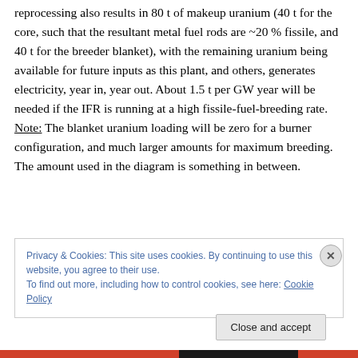reprocessing also results in 80 t of makeup uranium (40 t for the core, such that the resultant metal fuel rods are ~20 % fissile, and 40 t for the breeder blanket), with the remaining uranium being available for future inputs as this plant, and others, generates electricity, year in, year out. About 1.5 t per GW year will be needed if the IFR is running at a high fissile-fuel-breeding rate. Note: The blanket uranium loading will be zero for a burner configuration, and much larger amounts for maximum breeding. The amount used in the diagram is something in between.
Privacy & Cookies: This site uses cookies. By continuing to use this website, you agree to their use. To find out more, including how to control cookies, see here: Cookie Policy